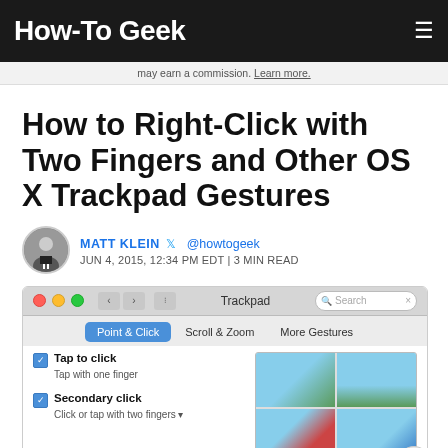How-To Geek
may earn a commission. Learn more.
How to Right-Click with Two Fingers and Other OS X Trackpad Gestures
MATT KLEIN @howtogeek JUN 4, 2015, 12:34 PM EDT | 3 MIN READ
[Figure (screenshot): macOS Trackpad System Preferences window showing Point & Click tab with options including Tap to click and Secondary click]